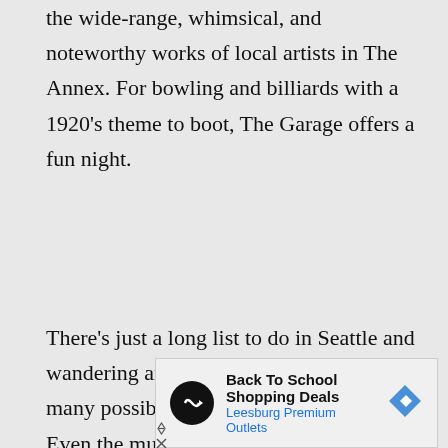the wide-range, whimsical, and noteworthy works of local artists in The Annex. For bowling and billiards with a 1920's theme to boot, The Garage offers a fun night.
There's just a long list to do in Seattle and wandering around assures you of the many possibilities to party the night away. Even the mundane queuing for the famous “Seattle dog” gives the opportunity to socialize with the community, you might just be awed by simply
[Figure (infographic): Advertisement banner for 'Back To School Shopping Deals' at Leesburg Premium Outlets, with a circular black logo with infinity-style icon, text, and a blue diamond-shaped arrow icon.]